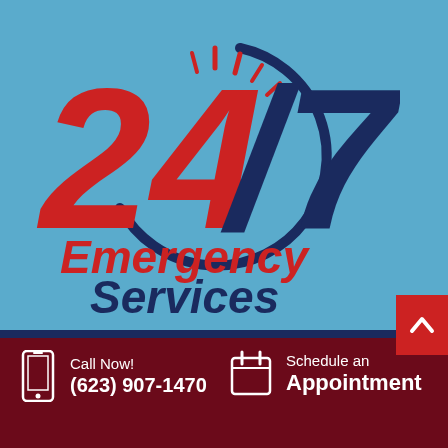[Figure (logo): 24/7 Emergency Services logo with clock graphic. Large red bold '24' and '7' numerals with a dark navy blue clock arc and tick marks behind them. Below reads 'Emergency' in red bold italic and 'Services' in dark navy bold italic.]
Call Now! (623) 907-1470
Schedule an Appointment